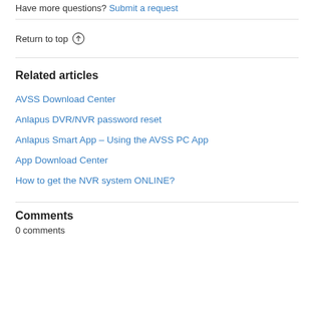Have more questions? Submit a request
Return to top ↑
Related articles
AVSS Download Center
Anlapus DVR/NVR password reset
Anlapus Smart App – Using the AVSS PC App
App Download Center
How to get the NVR system ONLINE?
Comments
0 comments